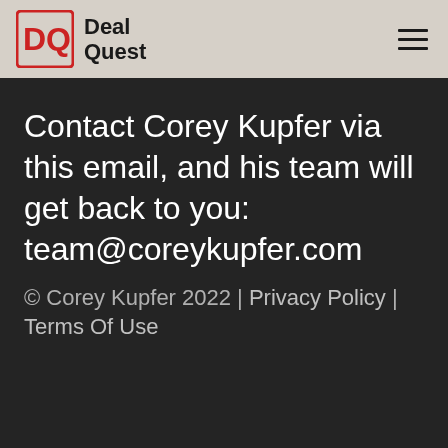[Figure (logo): Deal Quest logo with DQ monogram in red and bold text 'Deal Quest' in black]
Contact Corey Kupfer via this email, and his team will get back to you: team@coreykupfer.com
© Corey Kupfer 2022 | Privacy Policy | Terms Of Use